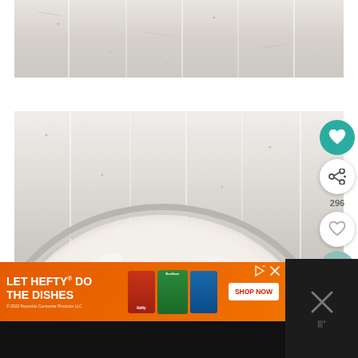[Figure (photo): Top portion showing a whitewashed wooden plank background, light gray-white planks with vertical grain texture.]
[Figure (photo): Bottom portion showing a glass mixing bowl from above filled with what appears to be a white creamy/foamy batter or mixture, set against whitewashed wooden plank background. UI buttons visible on right: teal heart icon, white share icon, count '296', white heart icon, teal-gray search icon.]
[Figure (photo): Advertisement banner: orange background with text 'LET HEFTY DO THE DISHES', product images of Hefty EcoSave and other products, 'SHOP NOW' button. Copyright 2022 Reynolds Consumer Products LLC. Right side shows dark panel with X close icon and thermometer icon.]